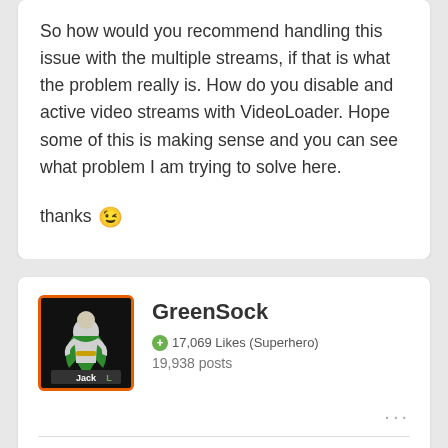So how would you recommend handling this issue with the multiple streams, if that is what the problem really is. How do you disable and active video streams with VideoLoader. Hope some of this is making sense and you can see what problem I am trying to solve here.

thanks 😉
GreenSock • 17,069 Likes (Superhero) 19,938 posts
Don't you pauseVideo() the VideoLoader(s) that you don't want playing? It sounds like maybe you left